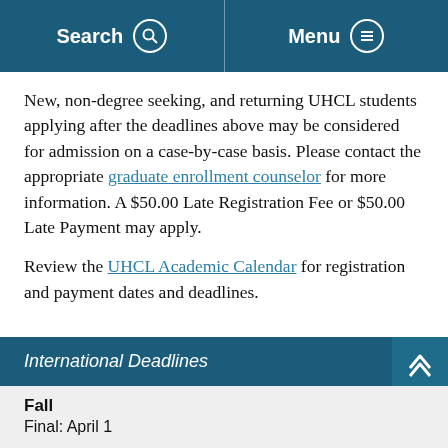Search | Menu
New, non-degree seeking, and returning UHCL students applying after the deadlines above may be considered for admission on a case-by-case basis. Please contact the appropriate graduate enrollment counselor for more information. A $50.00 Late Registration Fee or $50.00 Late Payment may apply.
Review the UHCL Academic Calendar for registration and payment dates and deadlines.
International Deadlines
Fall
Final: April 1